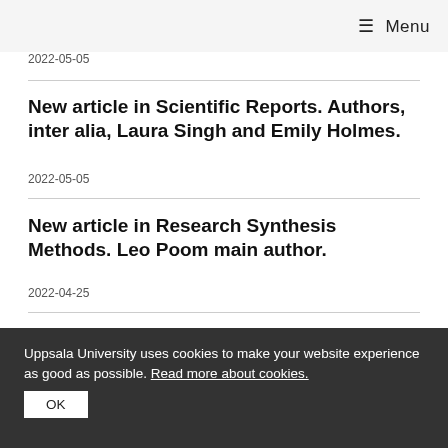≡ Menu
2022-05-05
New article in Scientific Reports. Authors, inter alia, Laura Singh and Emily Holmes.
2022-05-05
New article in Research Synthesis Methods. Leo Poom main author.
2022-04-25
Emily Holmes in BBC World Service
Uppsala University uses cookies to make your website experience as good as possible. Read more about cookies.